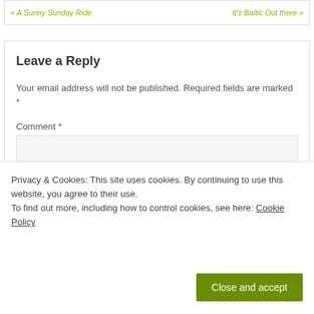« A Sunny Sunday Ride   It's Baltic Out there »
Leave a Reply
Your email address will not be published. Required fields are marked *
Comment *
Privacy & Cookies: This site uses cookies. By continuing to use this website, you agree to their use.
To find out more, including how to control cookies, see here: Cookie Policy
Close and accept